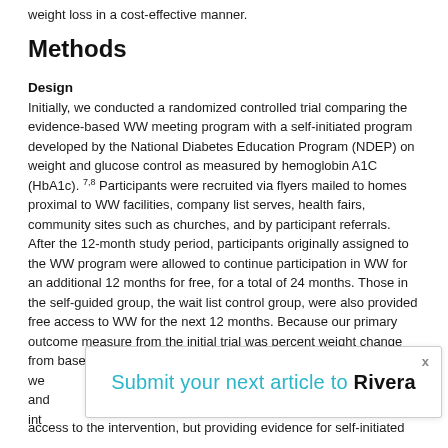weight loss in a cost-effective manner.
Methods
Design
Initially, we conducted a randomized controlled trial comparing the evidence-based WW meeting program with a self-initiated program developed by the National Diabetes Education Program (NDEP) on weight and glucose control as measured by hemoglobin A1C (HbA1c). 7,8 Participants were recruited via flyers mailed to homes proximal to WW facilities, company list serves, health fairs, community sites such as churches, and by participant referrals. After the 12-month study period, participants originally assigned to the WW program were allowed to continue participation in WW for an additional 12 months for free, for a total of 24 months. Those in the self-guided group, the wait list control group, were also provided free access to WW for the next 12 months. Because our primary outcome measure from the initial trial was percent weight change from baseline to 12 months for the members of the study, we... and... int...
[Figure (other): Popup banner: 'Submit your next article to Rivera' with close button X]
access to the intervention, but providing evidence for self-initiated